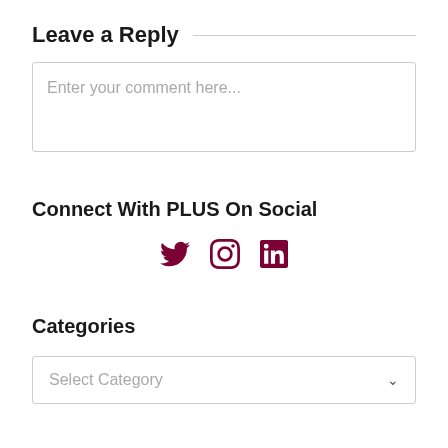Leave a Reply
Enter your comment here...
Connect With PLUS On Social
[Figure (infographic): Social media icons: Twitter bird, Instagram camera, LinkedIn 'in' logo, all in dark maroon/burgundy color]
Categories
Select Category